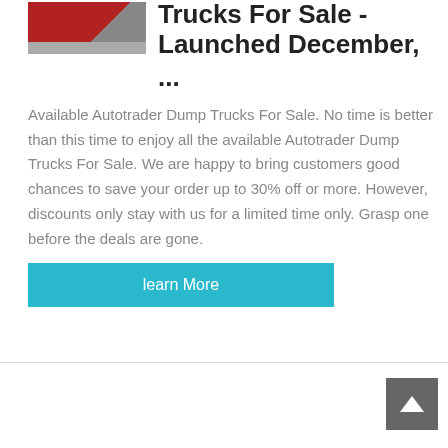[Figure (photo): Photo of a red dump truck parked outdoors]
Trucks For Sale - Launched December, ...
Available Autotrader Dump Trucks For Sale. No time is better than this time to enjoy all the available Autotrader Dump Trucks For Sale. We are happy to bring customers good chances to save your order up to 30% off or more. However, discounts only stay with us for a limited time only. Grasp one before the deals are gone.
[Figure (other): Cyan 'learn More' button]